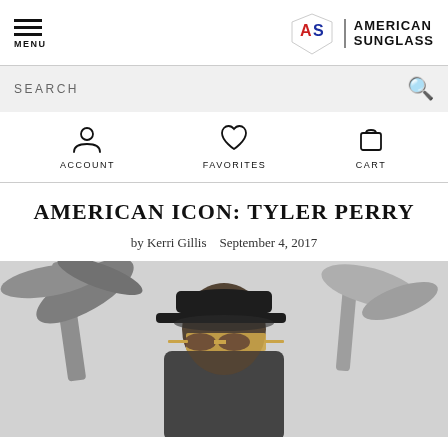MENU | AMERICAN SUNGLASS
SEARCH
ACCOUNT   FAVORITES   CART
AMERICAN ICON: TYLER PERRY
by Kerri Gillis   September 4, 2017
[Figure (photo): Black and white photo of Tyler Perry wearing a black cap and gold-frame sunglasses, with palm trees in the background]